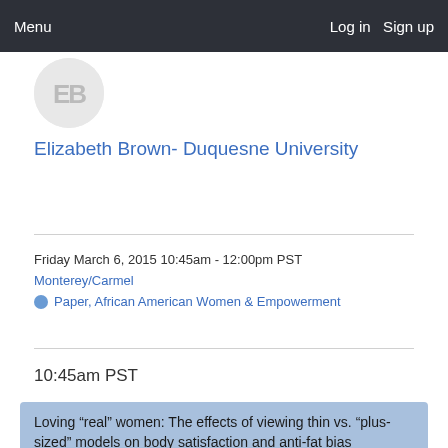Menu   Log in   Sign up
[Figure (illustration): Circular avatar with initials EB in grey]
Elizabeth Brown- Duquesne University
Friday March 6, 2015 10:45am - 12:00pm PST
Monterey/Carmel
Paper, African American Women & Empowerment
10:45am PST
Loving “real” women: The effects of viewing thin vs. “plus-sized” models on body satisfaction and anti-fat bias